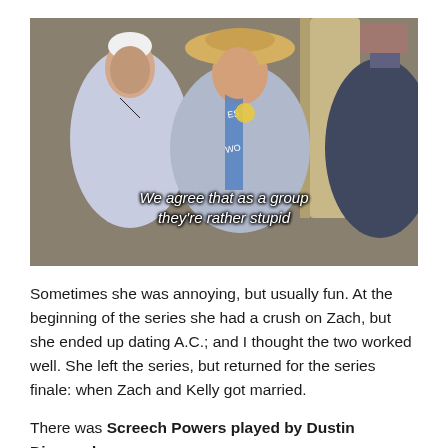[Figure (photo): A still from a vintage TV show or film showing three women in period costume. The central woman wears a large straw hat and a sash, flanked by two others. A subtitle reads: 'We agree that as a group they're rather stupid']
Sometimes she was annoying, but usually fun. At the beginning of the series she had a crush on Zach, but she ended up dating A.C.; and I thought the two worked well. She left the series, but returned for the series finale: when Zach and Kelly got married.
There was Screech Powers played by Dustin Diamond.